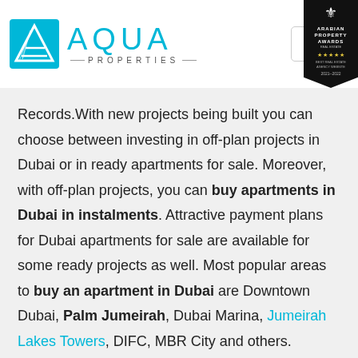[Figure (logo): Aqua Properties logo with cyan triangle icon and AQUA PROPERTIES text, plus hamburger menu button and Arabian Property Awards badge]
Records.With new projects being built you can choose between investing in off-plan projects in Dubai or in ready apartments for sale. Moreover, with off-plan projects, you can buy apartments in Dubai in instalments. Attractive payment plans for Dubai apartments for sale are available for some ready projects as well. Most popular areas to buy an apartment in Dubai are Downtown Dubai, Palm Jumeirah, Dubai Marina, Jumeirah Lakes Towers, DIFC, MBR City and others.